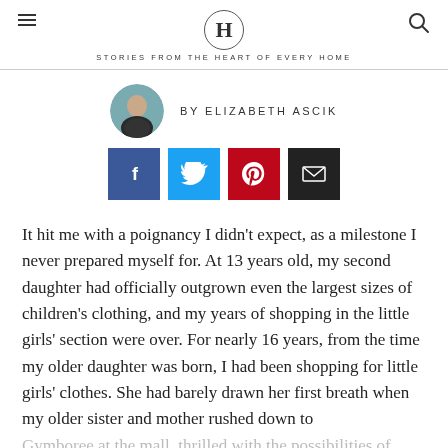H — STORIES FROM THE HEART OF EVERY HOME
BY ELIZABETH ASCIK
[Figure (other): Social share buttons: Facebook, Twitter, Pinterest, Email]
It hit me with a poignancy I didn't expect, as a milestone I never prepared myself for. At 13 years old, my second daughter had officially outgrown even the largest sizes of children's clothing, and my years of shopping in the little girls' section were over. For nearly 16 years, from the time my older daughter was born, I had been shopping for little girls' clothes. She had barely drawn her first breath when my older sister and mother rushed down to Gymboree at the mall, thrilled with the possibilities of